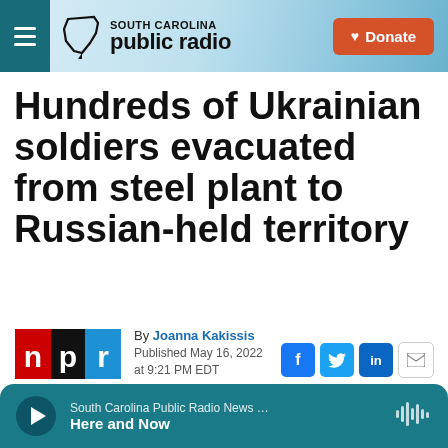South Carolina Public Radio — Donate
Hundreds of Ukrainian soldiers evacuated from steel plant to Russian-held territory
By Joanna Kakissis
Published May 16, 2022 at 9:21 PM EDT
[Figure (logo): NPR logo: red N, black P, blue R on white background]
[Figure (screenshot): Social sharing icons: Facebook, Twitter, LinkedIn, Email]
South Carolina Public Radio News … Here and Now